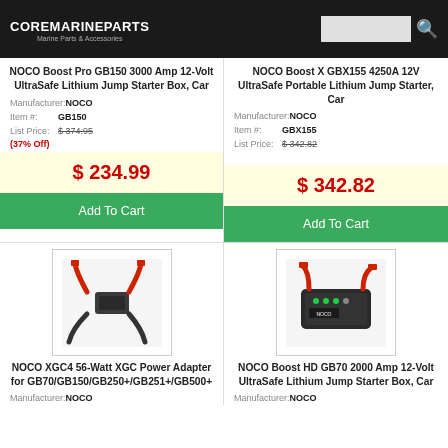COREMARINEPARTS - Marine Parts & Accessories
NOCO Boost Pro GB150 3000 Amp 12-Volt UltraSafe Lithium Jump Starter Box, Car
Manufacturer: NOCO
Item #: GB150
List Price: $374.95
(37% Off)
$ 234.99
Add To Cart
NOCO Boost X GBX155 4250A 12V UltraSafe Portable Lithium Jump Starter, Car
Manufacturer: NOCO
Item #: GBX155
List Price: $342.82
$ 342.82
Add To Cart
[Figure (photo): NOCO XGC4 power adapter with red cables]
NOCO XGC4 56-Watt XGC Power Adapter for GB70/GB150/GB250+/GB251+/GB500+
Manufacturer: NOCO
[Figure (photo): NOCO Boost HD GB70 jump starter device]
NOCO Boost HD GB70 2000 Amp 12-Volt UltraSafe Lithium Jump Starter Box, Car
Manufacturer: NOCO